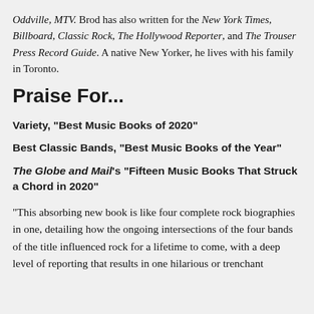Oddville, MTV. Brod has also written for the New York Times, Billboard, Classic Rock, The Hollywood Reporter, and The Trouser Press Record Guide. A native New Yorker, he lives with his family in Toronto.
Praise For...
Variety, "Best Music Books of 2020"
Best Classic Bands, "Best Music Books of the Year"
The Globe and Mail's "Fifteen Music Books That Struck a Chord in 2020"
“This absorbing new book is like four complete rock biographies in one, detailing how the ongoing intersections of the four bands of the title influenced rock for a lifetime to come, with a deep level of reporting that results in one hilarious or trenchant